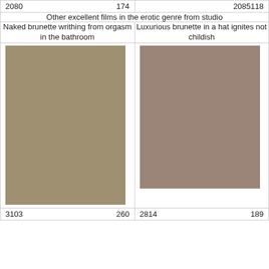| 2080 | 174 |
| 2085 | 118 |
Other excellent films in the erotic genre from studio
Naked brunette writhing from orgasm in the bathroom
[Figure (photo): Placeholder image for film thumbnail (olive/tan colored rectangle)]
Luxurious brunette in a hat ignites not childish
[Figure (photo): Placeholder image for film thumbnail (mauve/tan colored rectangle)]
3103    260
2814    189